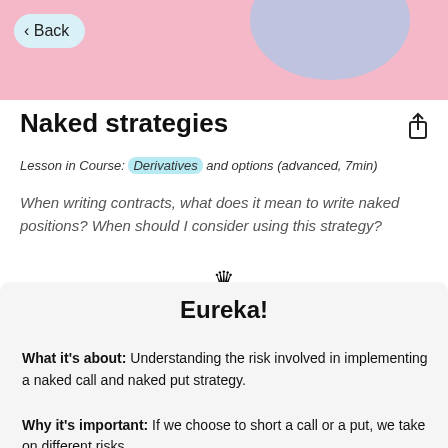[Figure (screenshot): Pink header banner with a back button and decorative blue blob shape]
Naked strategies
Lesson in Course: Derivatives and options (advanced, 7min)
When writing contracts, what does it mean to write naked positions? When should I consider using this strategy?
Eureka!
What it's about: Understanding the risk involved in implementing a naked call and naked put strategy.
Why it's important: If we choose to short a call or a put, we take on different risks.